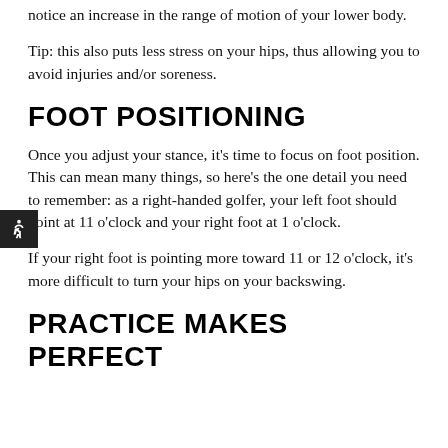notice an increase in the range of motion of your lower body.
Tip: this also puts less stress on your hips, thus allowing you to avoid injuries and/or soreness.
FOOT POSITIONING
Once you adjust your stance, it’s time to focus on foot position. This can mean many things, so here’s the one detail you need to remember: as a right-handed golfer, your left foot should point at 11 o’clock and your right foot at 1 o’clock.
If your right foot is pointing more toward 11 or 12 o’clock, it’s more difficult to turn your hips on your backswing.
PRACTICE MAKES PERFECT